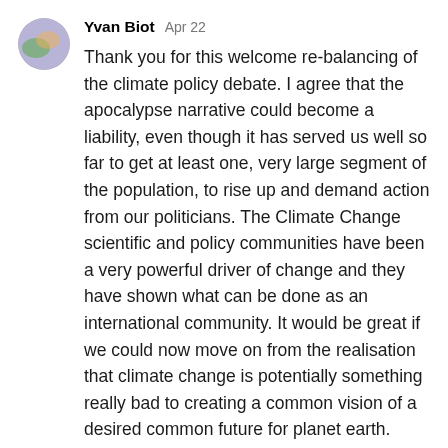[Figure (illustration): Circular avatar with abstract globe-like illustration showing green, blue, and purple tones]
Yvan Biot   Apr 22
Thank you for this welcome re-balancing of the climate policy debate. I agree that the apocalypse narrative could become a liability, even though it has served us well so far to get at least one, very large segment of the population, to rise up and demand action from our politicians. The Climate Change scientific and policy communities have been a very powerful driver of change and they have shown what can be done as an international community. It would be great if we could now move on from the realisation that climate change is potentially something really bad to creating a common vision of a desired common future for planet earth. From apocalyptic nightmares to dreams od greener pastures still ... There are still many vested interests out there, though, and we may still need to rely on diverse voices, including by our young and not so young climate activists. And the full range of critical